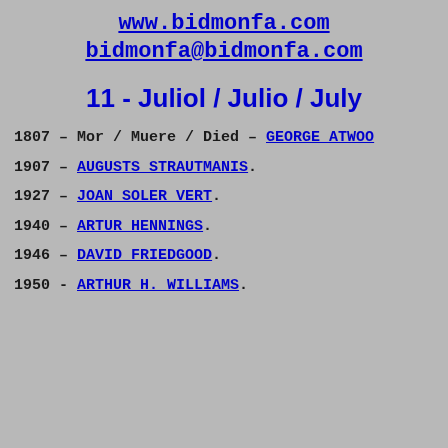www.bidmonfa.com
bidmonfa@bidmonfa.com
11 - Juliol / Julio / July
1807 - Mor / Muere / Died - GEORGE ATWOOD
1907 - AUGUSTS STRAUTMANIS.
1927 - JOAN SOLER VERT.
1940 - ARTUR HENNINGS.
1946 - DAVID FRIEDGOOD.
1950 - ARTHUR H. WILLIAMS.